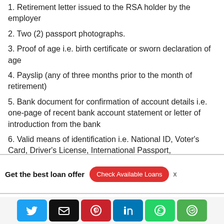1. Retirement letter issued to the RSA holder by the employer
2. Two (2) passport photographs.
3. Proof of age i.e. birth certificate or sworn declaration of age
4. Payslip (any of three months prior to the month of retirement)
5. Bank document for confirmation of account details i.e. one-page of recent bank account statement or letter of introduction from the bank
6. Valid means of identification i.e. National ID, Voter's Card, Driver's License, International Passport,
Get the best loan offer  Check Available Loans  x
[Figure (other): Social share buttons: Twitter, Email, Pinterest, LinkedIn, WhatsApp, Line]